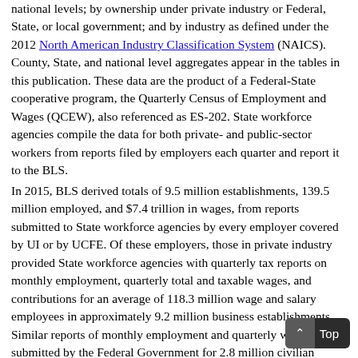national levels; by ownership under private industry or Federal, State, or local government; and by industry as defined under the 2012 North American Industry Classification System (NAICS). County, State, and national level aggregates appear in the tables in this publication. These data are the product of a Federal-State cooperative program, the Quarterly Census of Employment and Wages (QCEW), also referenced as ES-202. State workforce agencies compile the data for both private- and public-sector workers from reports filed by employers each quarter and report it to the BLS.
In 2015, BLS derived totals of 9.5 million establishments, 139.5 million employed, and $7.4 trillion in wages, from reports submitted to State workforce agencies by every employer covered by UI or by UCFE. Of these employers, those in private industry provided State workforce agencies with quarterly tax reports on monthly employment, quarterly total and taxable wages, and contributions for an average of 118.3 million wage and salary employees in approximately 9.2 million business establishments. Similar reports of monthly employment and quarterly wages were submitted by the Federal Government for 2.8 million civilian employees, by State governments for 4.6 million employees, and by local governments